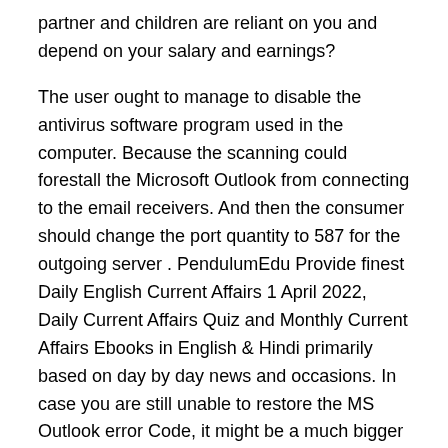partner and children are reliant on you and depend on your salary and earnings?
The user ought to manage to disable the antivirus software program used in the computer. Because the scanning could forestall the Microsoft Outlook from connecting to the email receivers. And then the consumer should change the port quantity to 587 for the outgoing server . PendulumEdu Provide finest Daily English Current Affairs 1 April 2022, Daily Current Affairs Quiz and Monthly Current Affairs Ebooks in English & Hindi primarily based on day by day news and occasions. In case you are still unable to restore the MS Outlook error Code, it might be a much bigger problem to get it answered all on your own.
If your internet pace is not average, then there’s a greater possibility that you will face this error in your display. If any